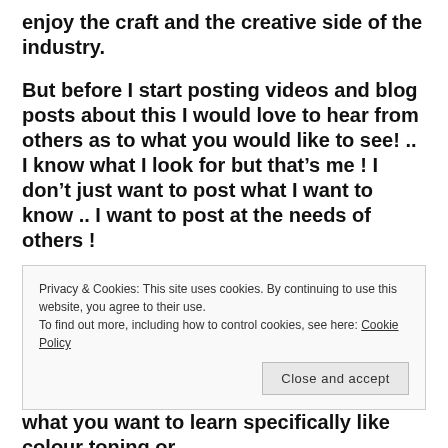enjoy the craft and the creative side of the industry.
But before I start posting videos and blog posts about this I would love to hear from others as to what you would like to see! .. I know what I look for but that’s me ! I don’t just want to post what I want to know .. I want to post at the needs of others !
See this could be anything for creative tips like using a prism or coloured lighting. Or it could be what I suggest to be the best lens for portraits or landscapes.
Privacy & Cookies: This site uses cookies. By continuing to use this website, you agree to their use.
To find out more, including how to control cookies, see here: Cookie Policy
what you want to learn specifically like colour toning or